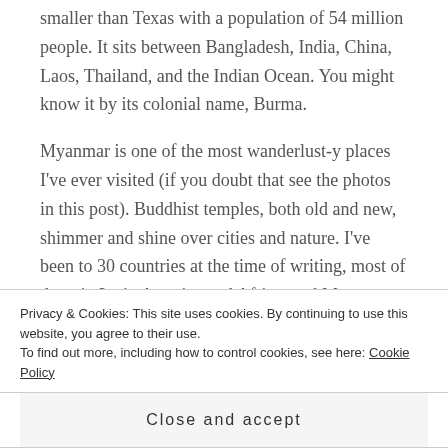smaller than Texas with a population of 54 million people. It sits between Bangladesh, India, China, Laos, Thailand, and the Indian Ocean. You might know it by its colonial name, Burma.
Myanmar is one of the most wanderlust-y places I've ever visited (if you doubt that see the photos in this post). Buddhist temples, both old and new, shimmer and shine over cities and nature. I've been to 30 countries at the time of writing, most of them in Latin America and Africa, and Myanmar may be the least Westernized place I've visited yet.  I didn't hear
Privacy & Cookies: This site uses cookies. By continuing to use this website, you agree to their use.
To find out more, including how to control cookies, see here: Cookie Policy
Close and accept